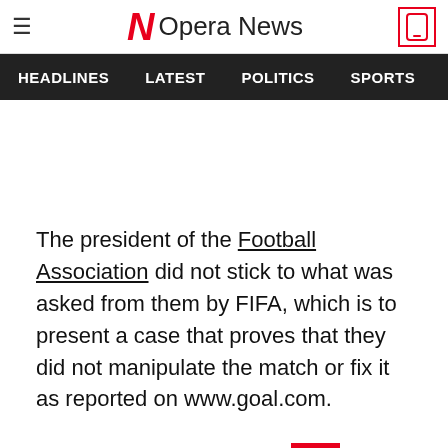Opera News
HEADLINES   LATEST   POLITICS   SPORTS
The president of the Football Association did not stick to what was asked from them by FIFA, which is to present a case that proves that they did not manipulate the match or fix it as reported on www.goal.com.
He went on to insult the st [button] South African football and